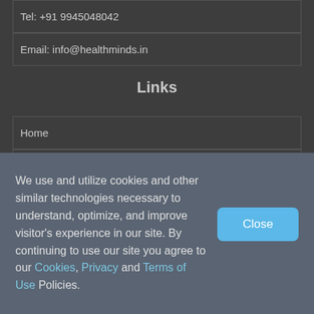Tel: +91 9945048042
Email: info@healthminds.in
Links
Home
Submit Manuscript
Contact Editor
Privacy
We use and utilize cookies and other similar technologies necessary to understand, optimize, and improve visitor's experience in our site. By continuing to use our site you agree to our Cookies, Privacy and Terms of Use Policies.